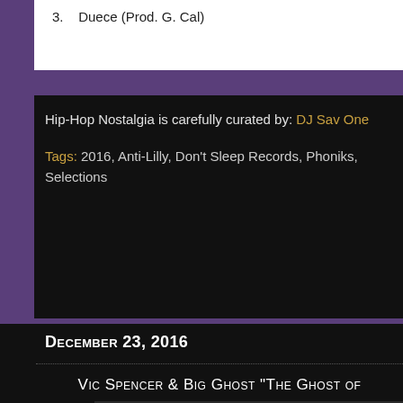3.   Duece (Prod. G. Cal)
Hip-Hop Nostalgia is carefully curated by: DJ Sav One
Tags: 2016, Anti-Lilly, Don't Sleep Records, Phoniks, Selections
December 23, 2016
Vic Spencer & Big Ghost "The Ghost of
[Figure (photo): Album cover art showing a dark framed image with white background on the left half and fire/smoke imagery on the right half]